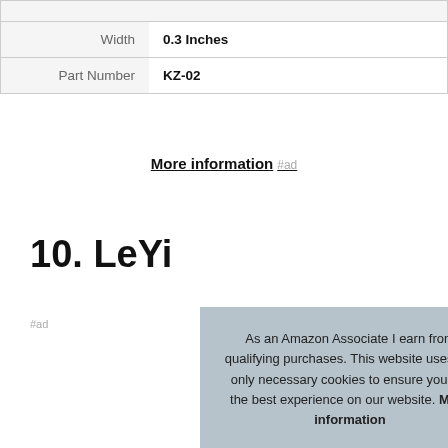|  |  |
| Width | 0.3 Inches |
| Part Number | KZ-02 |
More information #ad
10. LeYi
#ad
As an Amazon Associate I earn from qualifying purchases. This website uses the only necessary cookies to ensure you get the best experience on our website. More information